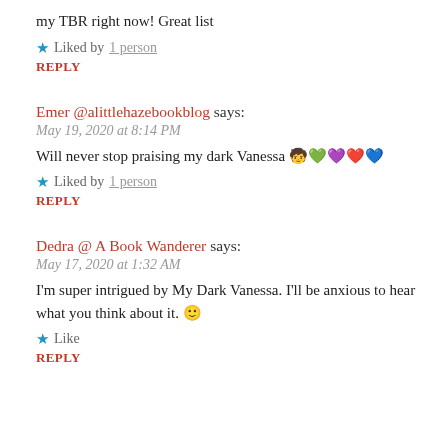my TBR right now! Great list
★ Liked by 1 person
REPLY
Emer @alittlehazebookblog says:
May 19, 2020 at 8:14 PM
Will never stop praising my dark Vanessa 🧒💚💜❤️💙
★ Liked by 1 person
REPLY
Dedra @ A Book Wanderer says:
May 17, 2020 at 1:32 AM
I'm super intrigued by My Dark Vanessa. I'll be anxious to hear what you think about it. 🙂
★ Like
REPLY